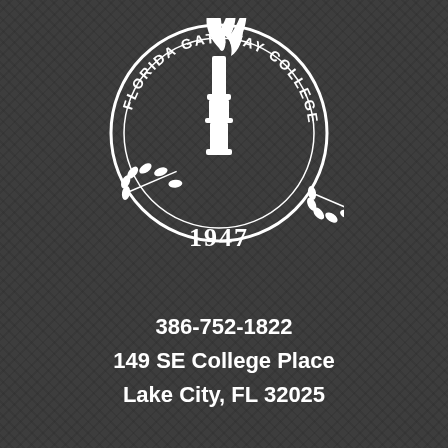[Figure (logo): Florida Gateway College circular seal with torch, laurel branches, and year 1947]
386-752-1822
149 SE College Place
Lake City, FL 32025
[Figure (infographic): Social media icons: Facebook, Instagram, Twitter, YouTube on dark green circular buttons]